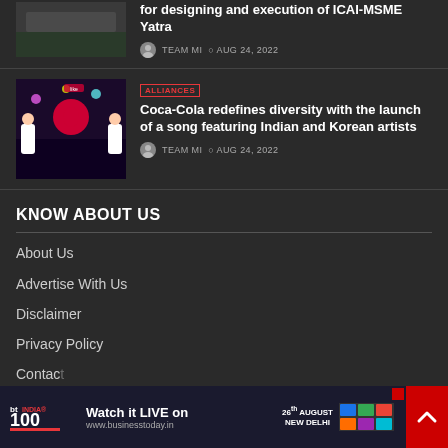[Figure (photo): Thumbnail image of road/street scene (partially visible at top)]
for designing and execution of ICAI-MSME Yatra
TEAM MI  AUG 24, 2022
[Figure (photo): Thumbnail of Coca-Cola music video featuring Indian and Korean artists in colorful costumes]
ALLIANCES
Coca-Cola redefines diversity with the launch of a song featuring Indian and Korean artists
TEAM MI  AUG 24, 2022
KNOW ABOUT US
About Us
Advertise With Us
Disclaimer
Privacy Policy
Contact
[Figure (screenshot): Advertisement banner for BT INDIA 100 event: Watch it LIVE on www.businesstoday.in, 26th AUGUST NEW DELHI]